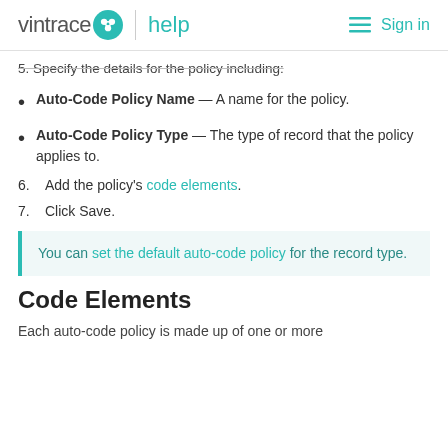vintrace help | Sign in
5. Specify the details for the policy including:
Auto-Code Policy Name — A name for the policy.
Auto-Code Policy Type — The type of record that the policy applies to.
6. Add the policy's code elements.
7. Click Save.
You can set the default auto-code policy for the record type.
Code Elements
Each auto-code policy is made up of one or more